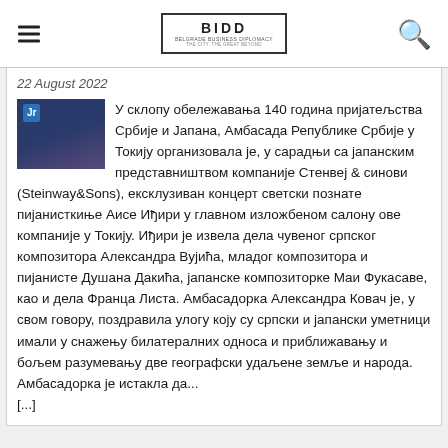BIDD - Belgrade Business Diplomacy
22 August 2022
[Figure (photo): Small thumbnail photo showing two people at an event, dark blue background with 'Jr' label visible]
У склопу обележавања 140 година пријатељства Србије и Јапана, Амбасада Републике Србије у Токију организовала је, у сарадњи са јапанским представништвом компаније Стенвеј & синови (Steinway&Sons), ексклузиван концерт светски познате пијанисткиње Аисе Иђири у главном изложбеном салону ове компаније у Токију. Иђири је извела дела чувеног српског композитора Александра Вујића, младог композитора и пијанисте Душана Дакића, јапанске композиторке Маи Фукасаве, као и дела Франца Листа. Амбасадорка Александра Ковач је, у свом говору, поздравила улогу коју су српски и јапански уметници имали у снажењу билатералних односа и приближавању и бољем разумевању две географски удаљене земље и народа. Амбасадорка је истакла да... [...]